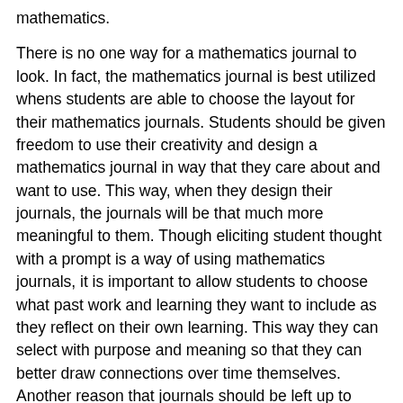mathematics.
There is no one way for a mathematics journal to look. In fact, the mathematics journal is best utilized whens students are able to choose the layout for their mathematics journals. Students should be given freedom to use their creativity and design a mathematics journal in way that they care about and want to use. This way, when they design their journals, the journals will be that much more meaningful to them. Though eliciting student thought with a prompt is a way of using mathematics journals, it is important to allow students to choose what past work and learning they want to include as they reflect on their own learning. This way they can select with purpose and meaning so that they can better draw connections over time themselves. Another reason that journals should be left up to children is that it is their opportunity to express and present their learning to others. The journals allow them to be the authority of learning and knowledge in a way that they choose. The journals cannot be done WRONG! Because the student owns and makes the journal they are able to present and write their reflections exactly